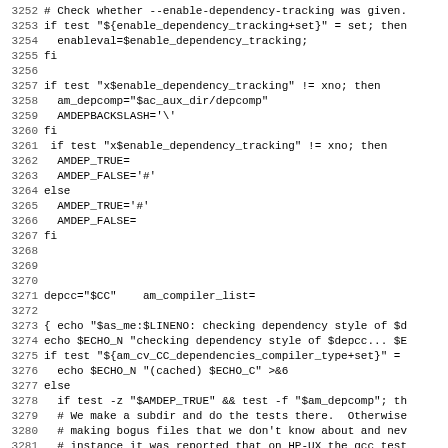Source code listing lines 3252-3283 of a shell configure script